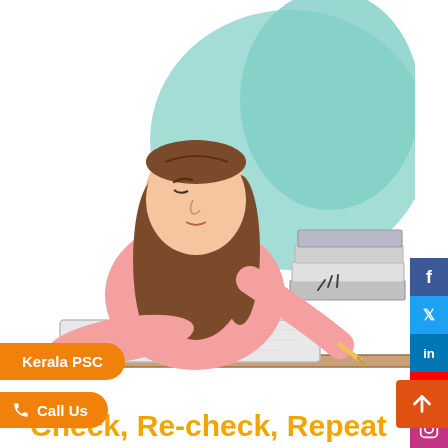[Figure (illustration): Cartoon illustration of a girl with long brown hair studying at a desk, writing in a notebook, with a stack of books beside her, and a teal/mint colored blob shape in the background.]
Check, Re-check, Repeat
The importance of REVISION is foremost in your GATE journey. It is one of the prime preparation tips for GATE provided by toppers and GATE tutors. And don't just stop at one or two revisions. You must revise in between the learning process and once you are thorough with the syllabus, attempt previous years question papers and practice them as many as possible to get some positive outcomes. These shall help you revise the syllabus and also